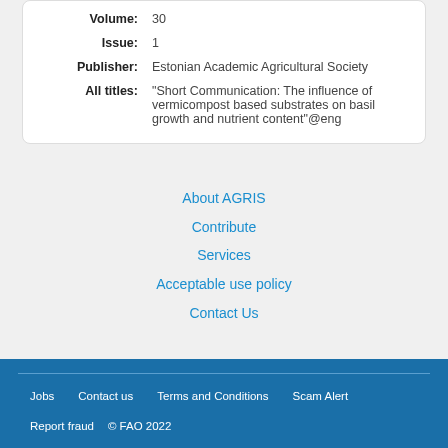| Volume: | 30 |
| Issue: | 1 |
| Publisher: | Estonian Academic Agricultural Society |
| All titles: | "Short Communication: The influence of vermicompost based substrates on basil growth and nutrient content"@eng |
About AGRIS
Contribute
Services
Acceptable use policy
Contact Us
Jobs   Contact us   Terms and Conditions   Scam Alert   Report fraud   © FAO 2022